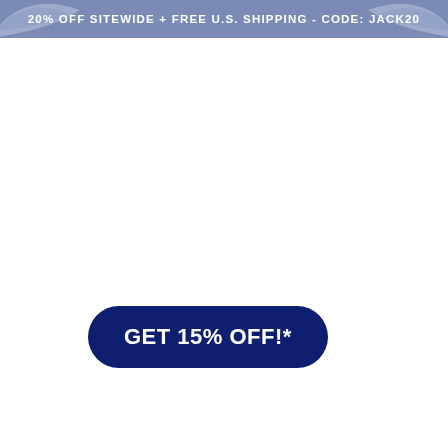20% OFF SITEWIDE + FREE U.S. SHIPPING - CODE: JACK20
GET 15% OFF!*